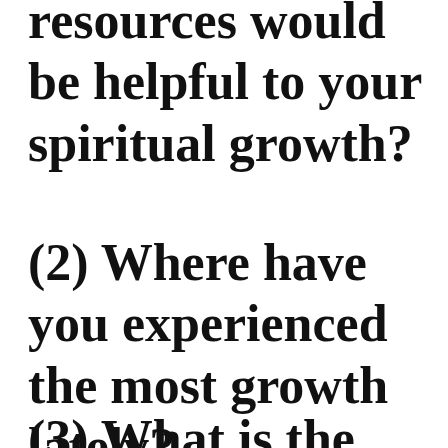resources would be helpful to your spiritual growth?
(2) Where have you experienced the most growth lately?
(3) What is the